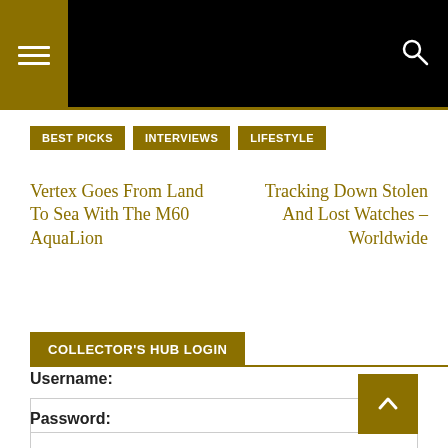Navigation header with menu and search icons
BEST PICKS
INTERVIEWS
LIFESTYLE
Vertex Goes From Land To Sea With The M60 AquaLion
Tracking Down Stolen And Lost Watches – Worldwide
COLLECTOR'S HUB LOGIN
Username:
Password: